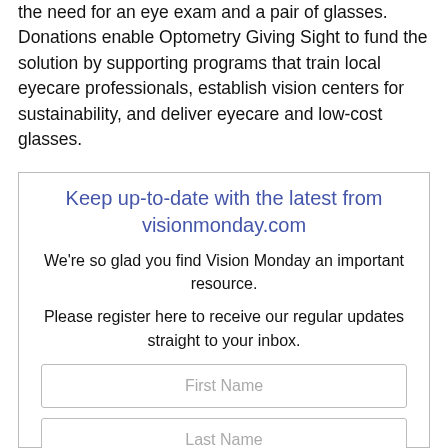the need for an eye exam and a pair of glasses. Donations enable Optometry Giving Sight to fund the solution by supporting programs that train local eyecare professionals, establish vision centers for sustainability, and deliver eyecare and low-cost glasses.
Keep up-to-date with the latest from visionmonday.com
We're so glad you find Vision Monday an important resource.
Please register here to receive our regular updates straight to your inbox.
First Name
Last Name
example@email.com